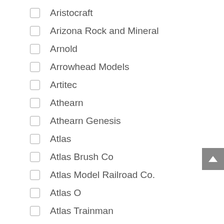Aristocraft
Arizona Rock and Mineral
Arnold
Arrowhead Models
Artitec
Athearn
Athearn Genesis
Atlas
Atlas Brush Co
Atlas Model Railroad Co.
Atlas O
Atlas Trainman